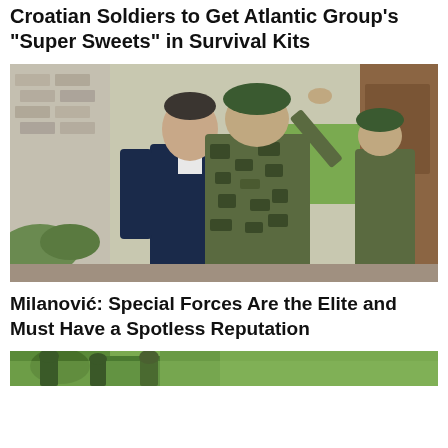Croatian Soldiers to Get Atlantic Group's "Super Sweets" in Survival Kits
[Figure (photo): A man in a dark suit (Milanović) facing a soldier in camouflage uniform with a green beret who is saluting. Another soldier in camouflage is visible on the right side. Outdoor setting with brick building in background.]
Milanović: Special Forces Are the Elite and Must Have a Spotless Reputation
[Figure (photo): Partial view of soldiers in green camouflage uniforms outdoors.]